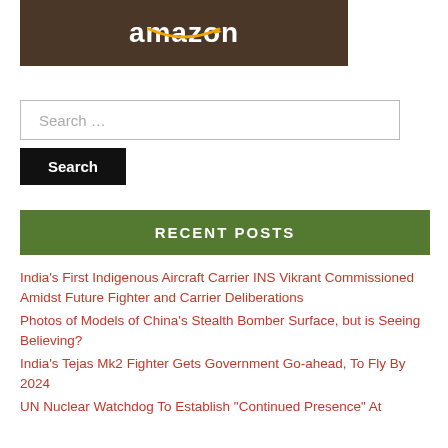[Figure (logo): Amazon logo on dark brown background with camping/outdoor gear; white bold text 'amazon' with orange smile arrow beneath]
Search …
Search
RECENT POSTS
India's First Indigenous Aircraft Carrier INS Vikrant Commissioned Amidst Future Fighter and Carrier Deliberations
Photos of Models of China's Stealth Bomber Surface, but is Seeing Believing?
India's Tejas Mk2 Fighter Gets Government Go-ahead, To Fly By 2024
UN Nuclear Watchdog To Establish "Continued Presence" At